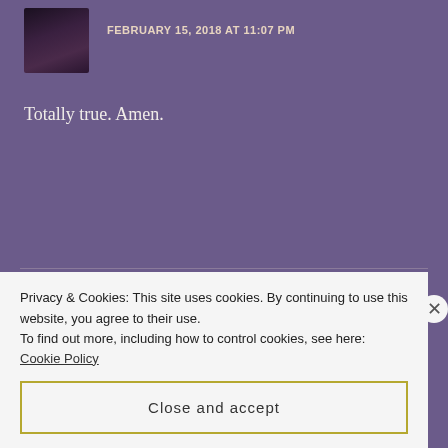FEBRUARY 15, 2018 AT 11:07 PM
Totally true. Amen.
mvitrano
FEBRUARY 16, 2018 AT 12:19 AM
Ungrateful isn't in your DNA… and I had the same
Privacy & Cookies: This site uses cookies. By continuing to use this website, you agree to their use.
To find out more, including how to control cookies, see here: Cookie Policy
Close and accept